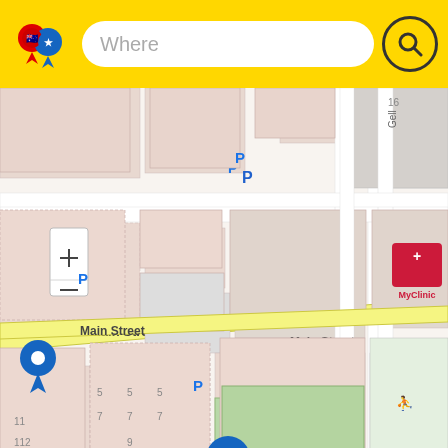Where [search bar with logo and search icon]
[Figure (map): Street map of Bacchus Marsh town centre showing Main Street, MyClinic, NAB, Border Inn Hotel, Commonwealth Bank, parking locations marked with P, and several blue map marker pins. Yellow highlighted roads for Main Street. Attribution: Leaflet | © OpenStreetMap]
Bars in Bacchus Marsh, Australia
List of bars in Bacchus Marsh VIC: find addresses, phone numbers, email, social networks, photos,